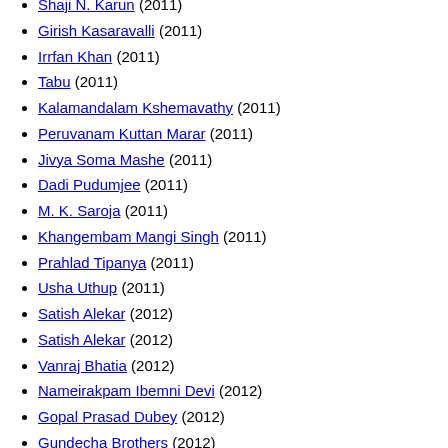Shaji N. Karun (2011)
Girish Kasaravalli (2011)
Irrfan Khan (2011)
Tabu (2011)
Kalamandalam Kshemavathy (2011)
Peruvanam Kuttan Marar (2011)
Jivya Soma Mashe (2011)
Dadi Pudumjee (2011)
M. K. Saroja (2011)
Khangembam Mangi Singh (2011)
Prahlad Tipanya (2011)
Usha Uthup (2011)
Satish Alekar (2012)
Satish Alekar (2012)
Vanraj Bhatia (2012)
Nameirakpam Ibemni Devi (2012)
Gopal Prasad Dubey (2012)
Gundecha Brothers (2012)
Chittani Ramachandra Hegde (2012)
Anup Jalota (2012)
Moti Lal Kemmu (2012)
Shahid Parvez (2012)
Mohanlal Chaturbhuj Kumhar (2012)
Sakar Khan (2012)
Joy Michael (2012)
Minati Mishra (2012)